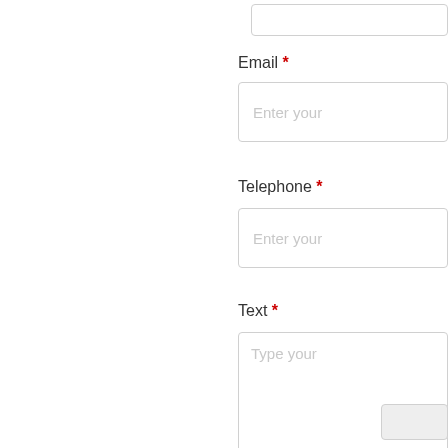[Figure (screenshot): Partial web form showing Email, Telephone, and Text fields with required asterisks and input boxes, partially cropped on the right side]
Email *
Enter your
Telephone *
Enter your
Text *
Type your